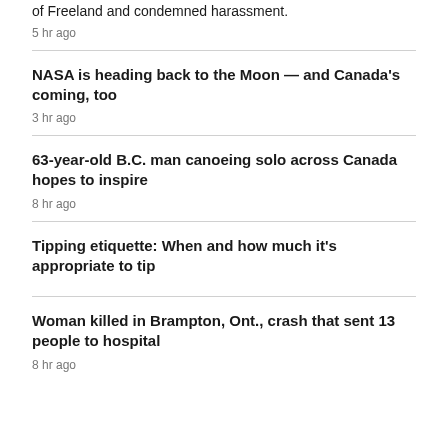of Freeland and condemned harassment.
5 hr ago
NASA is heading back to the Moon — and Canada's coming, too
3 hr ago
63-year-old B.C. man canoeing solo across Canada hopes to inspire
8 hr ago
Tipping etiquette: When and how much it's appropriate to tip
Woman killed in Brampton, Ont., crash that sent 13 people to hospital
8 hr ago